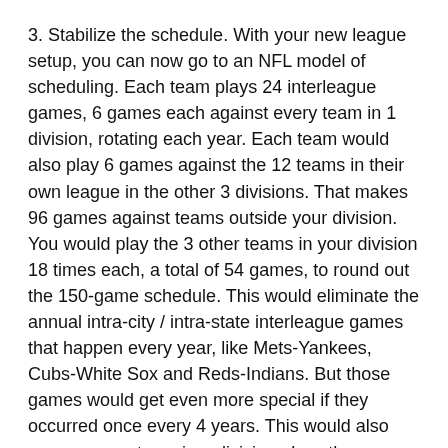3. Stabilize the schedule. With your new league setup, you can now go to an NFL model of scheduling. Each team plays 24 interleague games, 6 games each against every team in 1 division, rotating each year. Each team would also play 6 games against the 12 teams in their own league in the other 3 divisions. That makes 96 games against teams outside your division. You would play the 3 other teams in your division 18 times each, a total of 54 games, to round out the 150-game schedule. This would eliminate the annual intra-city / intra-state interleague games that happen every year, like Mets-Yankees, Cubs-White Sox and Reds-Indians. But those games would get even more special if they occurred once every 4 years. This would also ensure every team in a division plays the same schedule.
4. Make the National League use the Designated Hitter. I really get tired of this old, nonsensical notion that the National League plays a better brand of baseball without